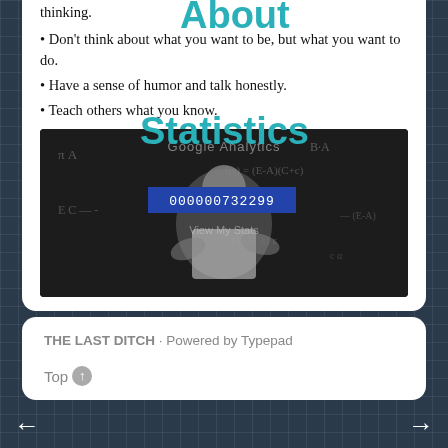• Don't think about what you want to be, but what you want to do.
• Have a sense of humor and talk honestly.
• Teach others what you know.
About
Statistics
[Figure (photo): Black and white photo of a professor writing at a blackboard covered with mathematical equations. Overlaid with Google Analytics tracker label and badge number 000000732299 and 'View My Stats' link.]
THE LAST DITCH  ·  Powered by Typepad
Top↑